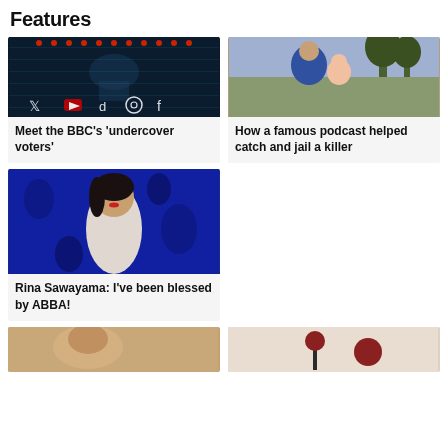Features
[Figure (photo): Collage of social media logos (Twitter, YouTube, TikTok, Instagram, Facebook) over a dark background with political imagery]
Meet the BBC's 'undercover voters'
[Figure (photo): Vintage photo of a woman holding a baby outdoors]
How a famous podcast helped catch and jail a killer
[Figure (photo): Rina Sawayama against a blue background with floral pattern, wearing a white outfit]
Rina Sawayama: I've been blessed by ABBA!
[Figure (photo): Partial photo at bottom left, appears to show a person]
[Figure (photo): Partial photo at bottom right, appears to show objects on a light background]